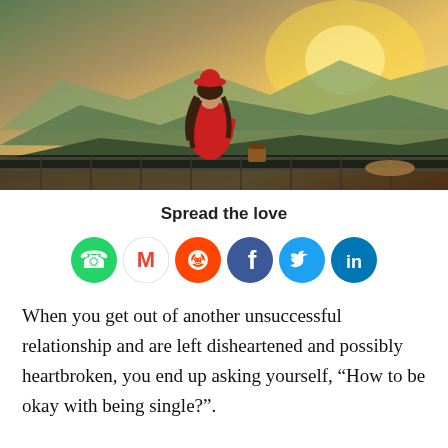[Figure (photo): Woman in red dress and red hat standing at a railing overlooking mountain landscape at sunset/golden hour, viewed from behind.]
Spread the love
[Figure (infographic): Row of social media share icons: WhatsApp (green), Gmail (white/red M), Reddit (orange), Facebook (dark blue f), Twitter (light blue bird), LinkedIn (blue in)]
When you get out of another unsuccessful relationship and are left disheartened and possibly heartbroken, you end up asking yourself, “How to be okay with being single?”.